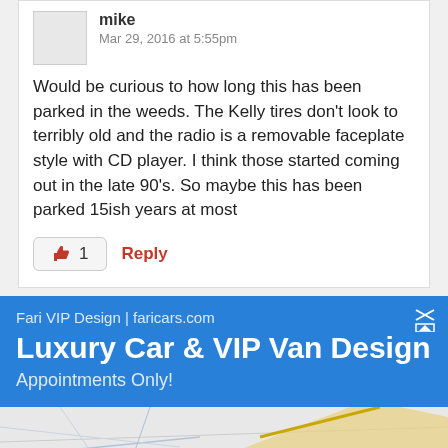mike
Mar 29, 2016 at 5:55pm
Would be curious to how long this has been parked in the weeds. The Kelly tires don't look to terribly old and the radio is a removable faceplate style with CD player. I think those started coming out in the late 90's. So maybe this has been parked 15ish years at most
1
Reply
[Figure (infographic): Blue advertisement banner for Fari VIP Design showing text: Fari VIP Design | faricars.com, Luxury Car & VIP Van Design, Appointments Only!]
[Figure (map): Partial map image showing road lines with a yellow highlighted road]